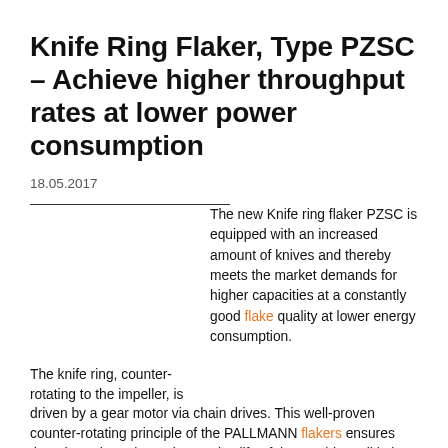Knife Ring Flaker, Type PZSC – Achieve higher throughput rates at lower power consumption
18.05.2017
The new Knife ring flaker PZSC is equipped with an increased amount of knives and thereby meets the market demands for higher capacities at a constantly good flake quality at lower energy consumption.
The knife ring, counter-rotating to the impeller, is driven by a gear motor via chain drives. This well-proven counter-rotating principle of the PALLMANN flakers ensures that, throughout the entire service life of the machine, all knives at the circumference of the knife ring cut evenly and that the flake material is reliably discharged. The rotating impeller accelerates the wood chips and pushes them through the interior of the knife ring where they are flaked by